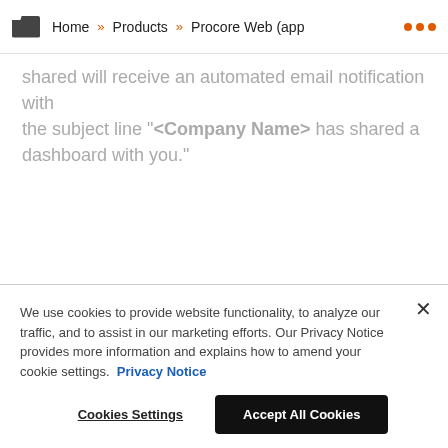Home » Products » Procore Web (app ...
shared will receive an automated email notification with the subject line "<Company Name> has shared a dashboard with you."
[Figure (illustration): Social media icons: LinkedIn, Facebook, Twitter, Instagram, YouTube]
© 2022 Procore Technologies, Inc.
We use cookies to provide website functionality, to analyze our traffic, and to assist in our marketing efforts. Our Privacy Notice provides more information and explains how to amend your cookie settings. Privacy Notice
Cookies Settings | Accept All Cookies